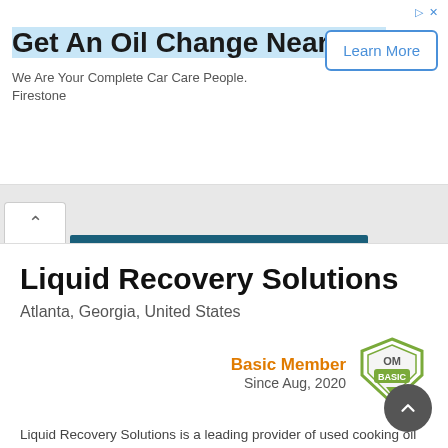[Figure (screenshot): Advertisement banner for Firestone oil change service with 'Learn More' button]
Liquid Recovery Solutions
Atlanta, Georgia, United States
Basic Member
Since Aug, 2020
Liquid Recovery Solutions is a leading provider of used cooking oil recycling services in the southeast region. Our network of oil collectors and grease haulers are dedicated to providing you the best rates and highest quality of service. As a result, we maintain significant quantities of refined used...
➜ Read more  ✈ Contact now